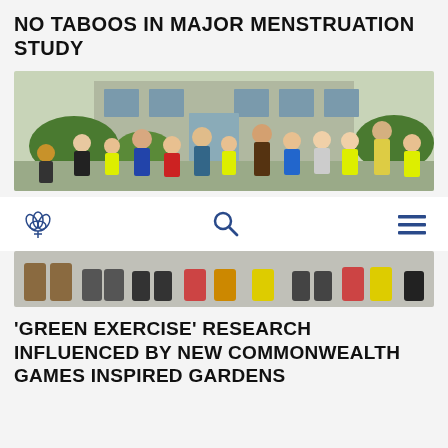NO TABOOS IN MAJOR MENSTRUATION STUDY
[Figure (photo): Group photo of adults and children in high-visibility vests outside a building]
[Figure (logo): University/institution logo with leaf/plant motif in blue, search icon, and hamburger menu icon — navigation bar]
[Figure (photo): Partial photo showing feet and lower legs of people standing on pavement, with coloured boots visible]
'GREEN EXERCISE' RESEARCH INFLUENCED BY NEW COMMONWEALTH GAMES INSPIRED GARDENS